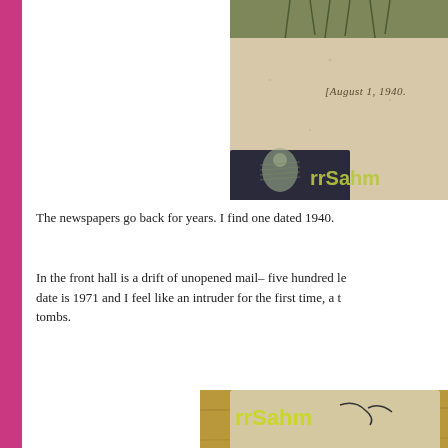[Figure (photo): Close-up photograph of an old newspaper or document showing the text '[August 1, 1940.' with a yellow-green 'rrSahm' watermark/logo overlay and a figure illustration.]
The newspapers go back for years. I find one dated 1940.
In the front hall is a drift of unopened mail– five hundred le... date is 1971 and I feel like an intruder for the first time, a t... tombs.
[Figure (photo): Close-up photograph of a document or book cover showing text 'rrSahm' watermark and partial text 'Federation of Europeans in Austra...']